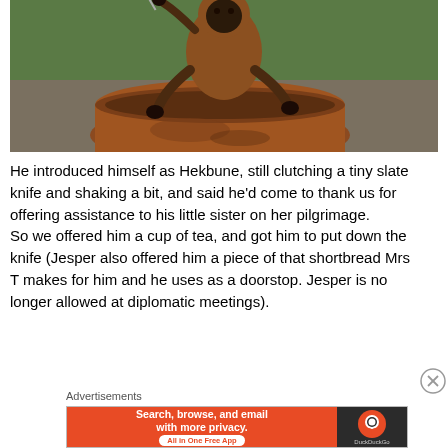[Figure (photo): A small monkey or primate with dark face and hands, brown/orange fur, crouching behind a large terracotta clay pot, with green foliage in the background.]
He introduced himself as Hekbune, still clutching a tiny slate knife and shaking a bit, and said he'd come to thank us for offering assistance to his little sister on her pilgrimage.
So we offered him a cup of tea, and got him to put down the knife (Jesper also offered him a piece of that shortbread Mrs T makes for him and he uses as a doorstop. Jesper is no longer allowed at diplomatic meetings).
Advertisements
[Figure (screenshot): DuckDuckGo advertisement banner: orange left side with text 'Search, browse, and email with more privacy. All in One Free App' and dark right side with DuckDuckGo logo and name.]